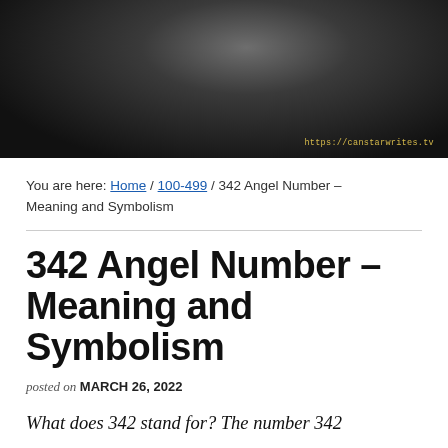[Figure (photo): Dark moody black and white photo of a figure in flowing dark clothing against a cloudy sky background, with watermark text 'https://canstarwrites.tv' in yellow]
You are here: Home / 100-499 / 342 Angel Number – Meaning and Symbolism
342 Angel Number – Meaning and Symbolism
posted on MARCH 26, 2022
What does 342 stand for? The number 342